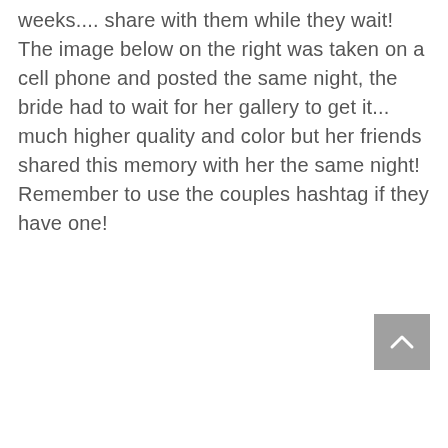weeks.... share with them while they wait! The image below on the right was taken on a cell phone and posted the same night, the bride had to wait for her gallery to get it... much higher quality and color but her friends shared this memory with her the same night! Remember to use the couples hashtag if they have one!
[Figure (other): Back to top button — a grey square with an upward-pointing chevron arrow]